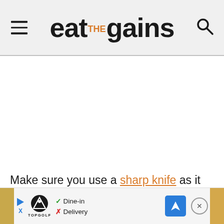eat the gains
Make sure you use a sharp knife as it makes a huge difference.
[Figure (screenshot): Advertisement banner at bottom of page showing Topgolf ad with play button, Dine-in checkmark, Delivery X mark, and navigation arrow]